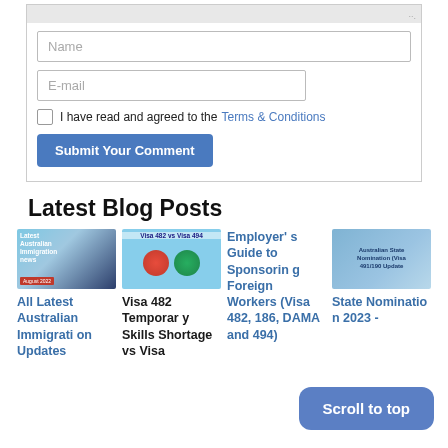[Figure (screenshot): Web form with Name input, E-mail input, Terms & Conditions checkbox, and Submit Your Comment button]
Latest Blog Posts
[Figure (photo): Thumbnail image for 'All Latest Australian Immigration Updates' blog post]
All Latest Australian Immigration Updates
[Figure (photo): Thumbnail image for 'Visa 482 Temporary Skills Shortage vs Visa' blog post]
Visa 482 Temporary Skills Shortage vs Visa
Employer's Guide to Sponsoring Foreign Workers (Visa 482, 186, DAMA and 494)
[Figure (photo): Thumbnail image for 'State Nomination 2023 -' blog post]
State Nomination 2023 -